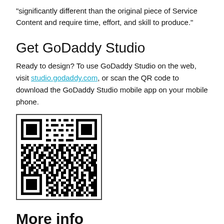“significantly different than the original piece of Service Content and require time, effort, and skill to produce.”
Get GoDaddy Studio
Ready to design? To use GoDaddy Studio on the web, visit studio.godaddy.com, or scan the QR code to download the GoDaddy Studio mobile app on your mobile phone.
[Figure (other): QR code for downloading the GoDaddy Studio mobile app]
More info